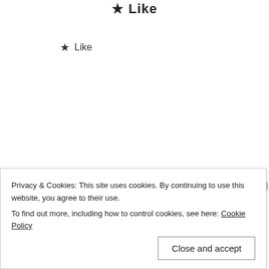★ Like
[Figure (illustration): Red geometric/mosaic pattern avatar for Joseph Beck]
Joseph Beck
Privacy & Cookies: This site uses cookies. By continuing to use this website, you agree to their use.
To find out more, including how to control cookies, see here: Cookie Policy
Close and accept